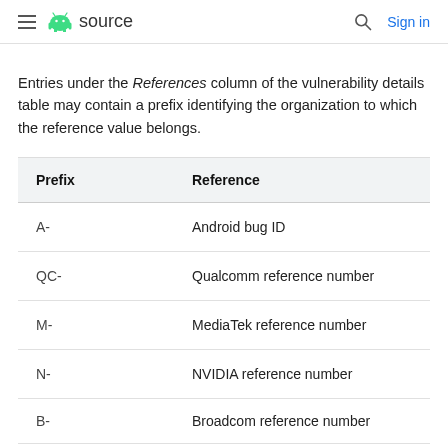≡ Android source | Search | Sign in
Entries under the References column of the vulnerability details table may contain a prefix identifying the organization to which the reference value belongs.
| Prefix | Reference |
| --- | --- |
| A- | Android bug ID |
| QC- | Qualcomm reference number |
| M- | MediaTek reference number |
| N- | NVIDIA reference number |
| B- | Broadcom reference number (partial) |